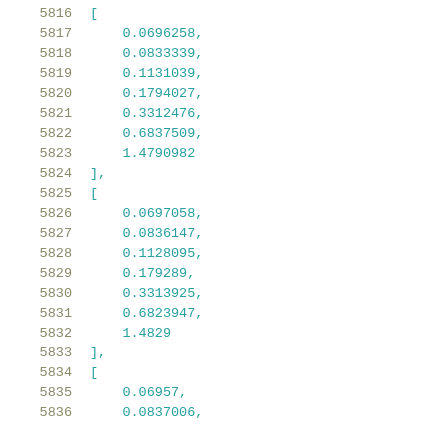5816    [
5817        0.0696258,
5818        0.0833339,
5819        0.1131039,
5820        0.1794027,
5821        0.3312476,
5822        0.6837509,
5823        1.4790982
5824    ],
5825    [
5826        0.0697058,
5827        0.0836147,
5828        0.1128095,
5829        0.179289,
5830        0.3313925,
5831        0.6823947,
5832        1.4829
5833    ],
5834    [
5835        0.06957,
5836        0.0837006,